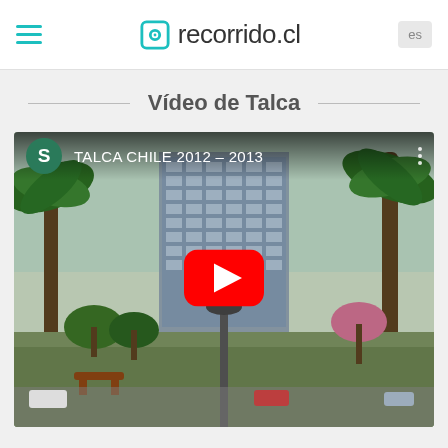recorrido.cl
Vídeo de Talca
[Figure (screenshot): YouTube video thumbnail showing a park scene in Talca, Chile with a modern office building in the background. The video title reads 'TALCA CHILE 2012 – 2013' with a YouTube play button overlay and a green channel avatar with letter S.]